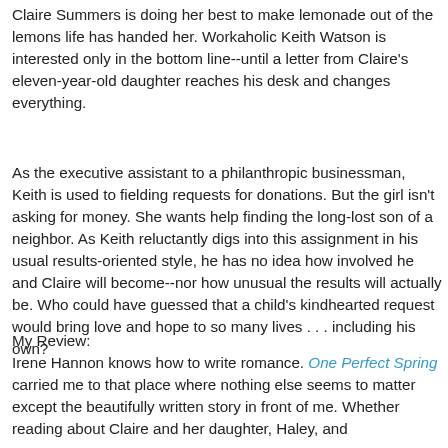Claire Summers is doing her best to make lemonade out of the lemons life has handed her. Workaholic Keith Watson is interested only in the bottom line--until a letter from Claire's eleven-year-old daughter reaches his desk and changes everything.
As the executive assistant to a philanthropic businessman, Keith is used to fielding requests for donations. But the girl isn't asking for money. She wants help finding the long-lost son of a neighbor. As Keith reluctantly digs into this assignment in his usual results-oriented style, he has no idea how involved he and Claire will become--nor how unusual the results will actually be. Who could have guessed that a child's kindhearted request would bring love and hope to so many lives . . . including his own?
My Review:
Irene Hannon knows how to write romance. One Perfect Spring carried me to that place where nothing else seems to matter except the beautifully written story in front of me. Whether reading about Claire and her daughter, Haley, and